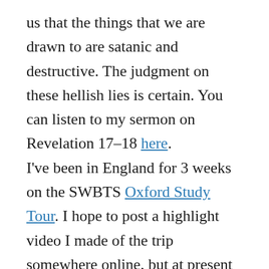us that the things that we are drawn to are satanic and destructive. The judgment on these hellish lies is certain. You can listen to my sermon on Revelation 17–18 here.
I've been in England for 3 weeks on the SWBTS Oxford Study Tour. I hope to post a highlight video I made of the trip somewhere online, but at present the video is 205MB. Please alert me if you know of a place that will let me post something that big for free.